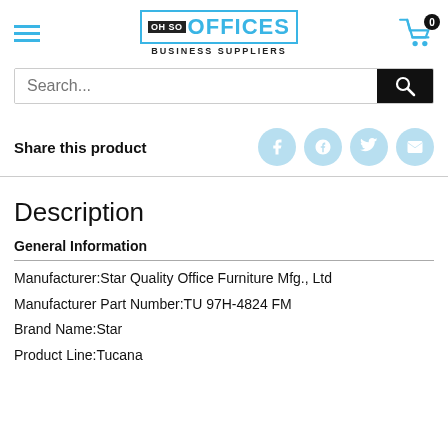[Figure (logo): Oh So Offices Business Suppliers logo with teal border and text]
Search...
Share this product
Description
General Information
Manufacturer:Star Quality Office Furniture Mfg., Ltd
Manufacturer Part Number:TU 97H-4824 FM
Brand Name:Star
Product Line:Tucana